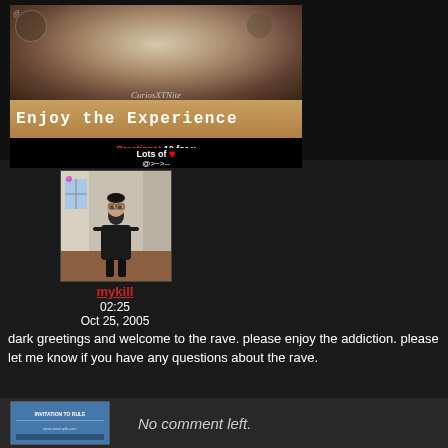[Figure (photo): Top banner image with decorative art and text 'Enjoy the Experience' with greeting message: 'Greetings! 10 for u Lots of [heart] @>~>--']
[Figure (photo): Profile photo of a person dressed in dark clothing standing in a room]
mykill
02:25
Oct 25, 2005
dark greetings and welcome to the rave. please enjoy the addiction. please let me know if you have any questions about the rave.
[Figure (photo): Small thumbnail image at the bottom left]
No comment left.